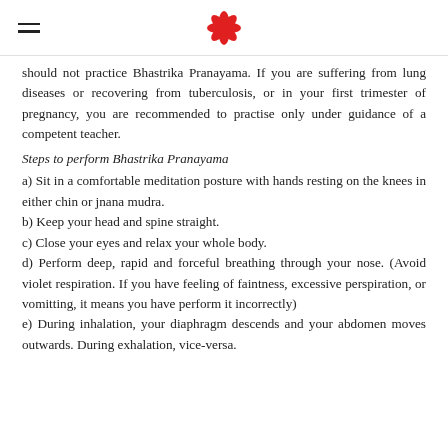[hamburger menu] [flower logo]
should not practice Bhastrika Pranayama. If you are suffering from lung diseases or recovering from tuberculosis, or in your first trimester of pregnancy, you are recommended to practise only under guidance of a competent teacher.
Steps to perform Bhastrika Pranayama
a) Sit in a comfortable meditation posture with hands resting on the knees in either chin or jnana mudra.
b) Keep your head and spine straight.
c) Close your eyes and relax your whole body.
d) Perform deep, rapid and forceful breathing through your nose. (Avoid violet respiration. If you have feeling of faintness, excessive perspiration, or vomitting, it means you have perform it incorrectly)
e) During inhalation, your diaphragm descends and your abdomen moves outwards. During exhalation, vice-versa.